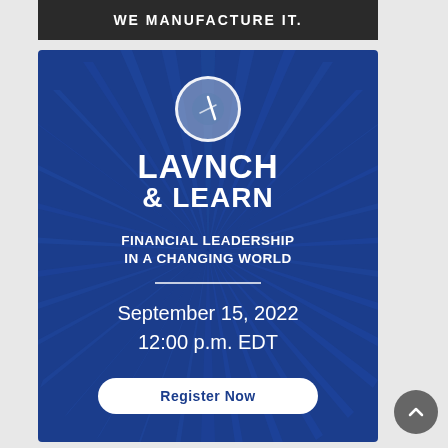[Figure (photo): Dark banner with text 'WE MANUFACTURE IT.' in white bold uppercase letters on dark background]
[Figure (infographic): Dark blue promotional card for 'LAVNCH & LEARN: FINANCIAL LEADERSHIP IN A CHANGING WORLD' event on September 15, 2022 at 12:00 p.m. EDT, with sunburst ray background design, compass/target logo icon at top, white horizontal divider, and white register button at bottom]